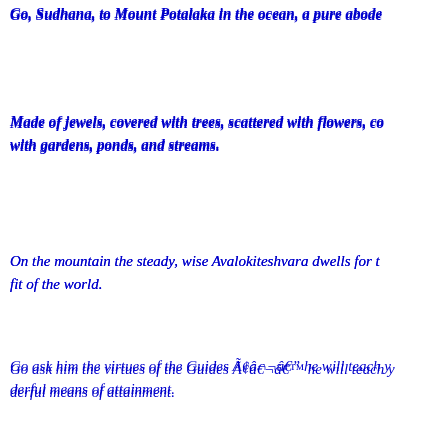Go, Sudhana, to Mount Potalaka in the ocean, a pure abode
Made of jewels, covered with trees, scattered with flowers, co with gardens, ponds, and streams.
On the mountain the steady, wise Avalokiteshvara dwells for t fit of the world.
Go ask him the virtues of the Guides Ã¢â¬â he will teach y derful means of attainment.
So Sudhana paid his respects to Veshthila and went on.